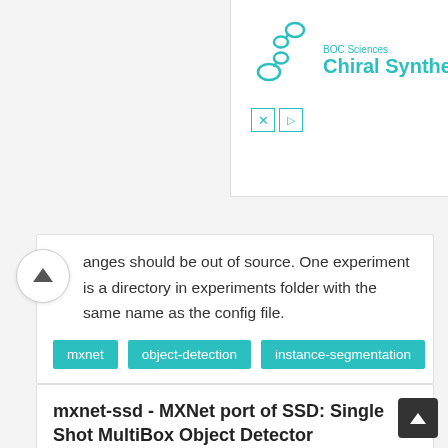[Figure (screenshot): BOC Sciences Chiral Synthesis advertisement banner with teal logo and chemistry icons]
anges should be out of source. One experiment is a directory in experiments folder with the same name as the config file.
mxnet
object-detection
instance-segmentation
mxnet-ssd - MXNet port of SSD: Single Shot MultiBox Object Detector
★★★★★ Python
SSD is an unified framework for object detection with a single network. You can use the code to train/evaluate/test for object detection task.